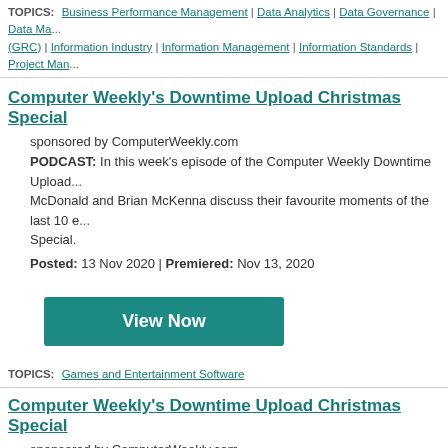TOPICS: Business Performance Management | Data Analytics | Data Governance | Data Ma... (GRC) | Information Industry | Information Management | Information Standards | Project Man...
Computer Weekly's Downtime Upload Christmas Special
sponsored by ComputerWeekly.com
PODCAST: In this week's episode of the Computer Weekly Downtime Upload... McDonald and Brian McKenna discuss their favourite moments of the last 10 e... Special.
Posted: 13 Nov 2020 | Premiered: Nov 13, 2020
[Figure (other): View Now button - teal/green rectangular button with white bold text]
TOPICS: Games and Entertainment Software
Computer Weekly's Downtime Upload Christmas Special
sponsored by ComputerWeekly.com
PODCAST: In this week's episode of the Computer Weekly Downtime Upload... McDonald and Brian McKenna discuss their favourite moments of the last 10 e... Special.
Posted: 24 Dec 2019 | Premiered: Dec 17, 2019